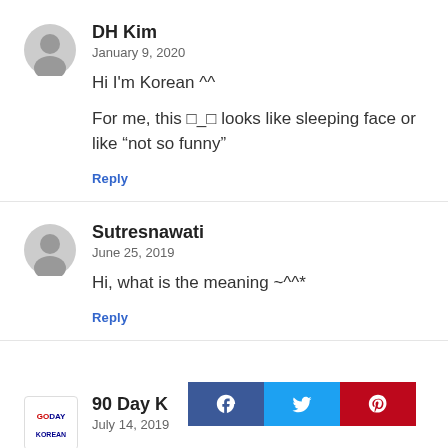DH Kim
January 9, 2020
Hi I'm Korean ^^
For me, this -_- looks like sleeping face or like “not so funny”
Reply
Sutresnawati
June 25, 2019
Hi, what is the meaning ~^^*
Reply
90 Day Korean
July 14, 2019